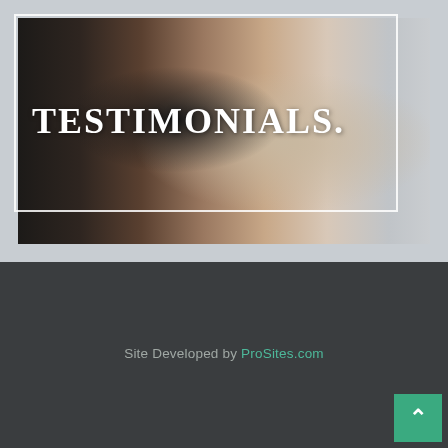[Figure (photo): Hero banner with a photograph of two smiling older adults (man and woman) with a white border overlay and the text TESTIMONIALS. in large white serif font]
TESTIMONIALS.
Site Developed by ProSites.com